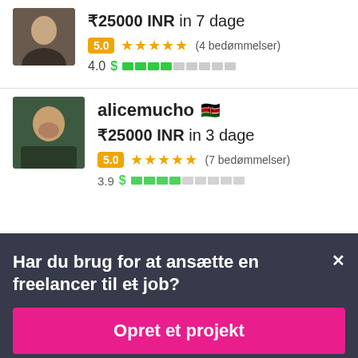₹25000 INR in 7 dage
5.0 ★★★★★ (4 bedømmelser)
4.0 $ ████░░░░░
alicemucho 🇰🇪
₹25000 INR in 3 dage
5.0 ★★★★★ (7 bedømmelser)
3.9 $ ████░░░░░
Har du brug for at ansætte en freelancer til et job?
Opret et projekt